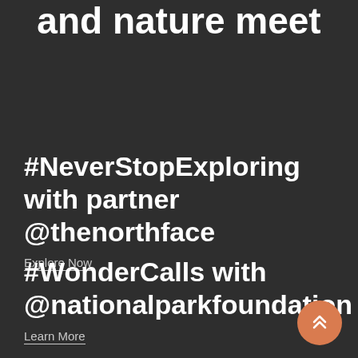and nature meet
#NeverStopExploring with partner @thenorthface
Explore Now
#WonderCalls with @nationalparkfoundation
Learn More